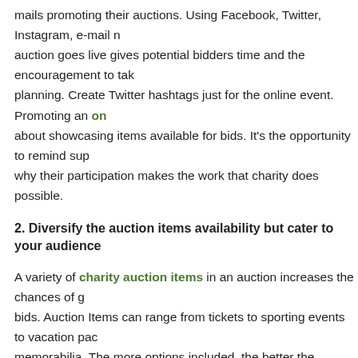mails promoting their auctions. Using Facebook, Twitter, Instagram, e-mail n auction goes live gives potential bidders time and the encouragement to tak planning. Create Twitter hashtags just for the online event. Promoting an online about showcasing items available for bids. It's the opportunity to remind sup why their participation makes the work that charity does possible.
2. Diversify the auction items availability but cater to your audience
A variety of charity auction items in an auction increases the chances of g bids. Auction Items can range from tickets to sporting events to vacation pac memorabilia. The more options included, the better the chances of someone available. It's equally important to tailor an online charity auction to the au Catering the auction item list to the demographic of the majority of supporte way to increase bids.
3. Send out Reminders and Instructions
Given all the information a person is bombarded with every day, it's easy to